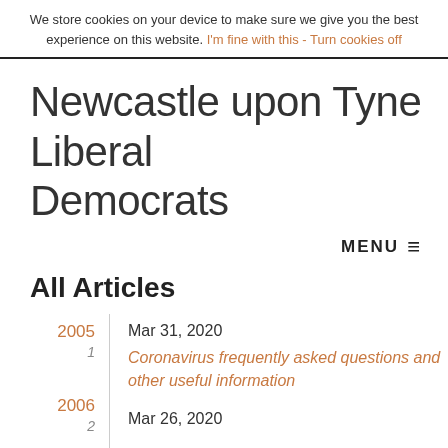We store cookies on your device to make sure we give you the best experience on this website. I'm fine with this - Turn cookies off
Newcastle upon Tyne Liberal Democrats
MENU ≡
All Articles
2005
1
Mar 31, 2020
Coronavirus frequently asked questions and other useful information
2006
2
Mar 26, 2020
2007